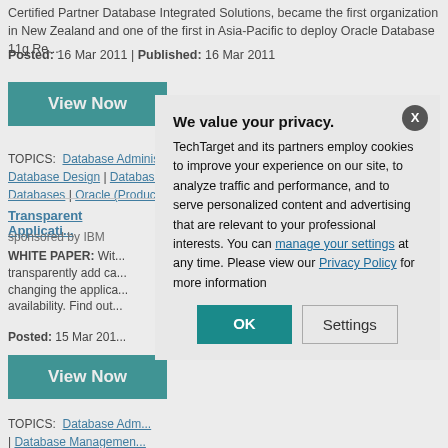Certified Partner Database Integrated Solutions, became the first organization in New Zealand and one of the first in Asia-Pacific to deploy Oracle Database 11g Re...
Posted: 16 Mar 2011 | Published: 16 Mar 2011
[Figure (other): Teal 'View Now' button]
TOPICS: Database Administration | Database Architectures | Database Design | Database M... Databases | Oracle (Product)
Transparent Applicati...
sponsored by IBM
WHITE PAPER: Wit... transparently add ca... changing the applica... availability. Find out...
Posted: 15 Mar 201...
[Figure (other): Teal 'View Now' button]
TOPICS: Database Adm... | Database Managemen... Availability
We value your privacy. TechTarget and its partners employ cookies to improve your experience on our site, to analyze traffic and performance, and to serve personalized content and advertising that are relevant to your professional interests. You can manage your settings at any time. Please view our Privacy Policy for more information
[Figure (other): OK and Settings buttons in privacy modal]